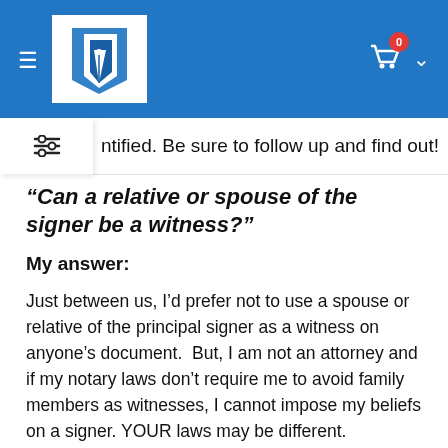Notary website header with logo and cart icon
ntified. Be sure to follow up and find out!
“Can a relative or spouse of the signer be a witness?”
My answer:
Just between us, I’d prefer not to use a spouse or relative of the principal signer as a witness on anyone’s document.  But, I am not an attorney and if my notary laws don’t require me to avoid family members as witnesses, I cannot impose my beliefs on a signer. YOUR laws may be different.
Our  notary authority stops where our notary laws